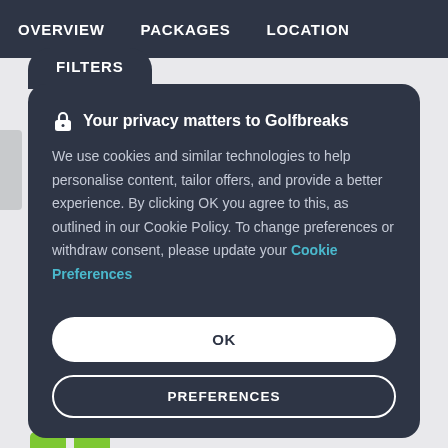OVERVIEW   PACKAGES   LOCATION
FILTERS
🔒 Your privacy matters to Golfbreaks
We use cookies and similar technologies to help personalise content, tailor offers, and provide a better experience. By clicking OK you agree to this, as outlined in our Cookie Policy. To change preferences or withdraw consent, please update your Cookie Preferences
OK
PREFERENCES